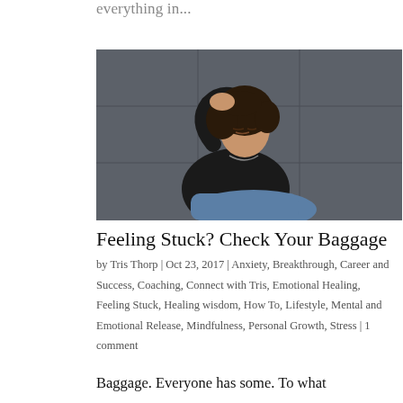everything in...
[Figure (photo): A young woman with curly hair sitting against a dark wall, holding her head with one hand, eyes closed, wearing a black hoodie and jeans, appearing stressed or overwhelmed.]
Feeling Stuck? Check Your Baggage
by Tris Thorp | Oct 23, 2017 | Anxiety, Breakthrough, Career and Success, Coaching, Connect with Tris, Emotional Healing, Feeling Stuck, Healing wisdom, How To, Lifestyle, Mental and Emotional Release, Mindfulness, Personal Growth, Stress | 1 comment
Baggage. Everyone has some. To what